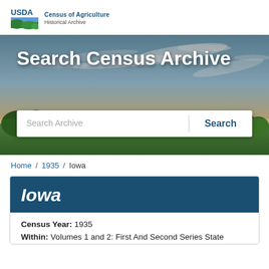USDA Census of Agriculture Historical Archive
[Figure (photo): Hero banner image showing rural landscape with sky and trees, overlaid with 'Search Census Archive' title and a search input box with a Search button.]
Home / 1935 / Iowa
Iowa
Census Year: 1935
Within: Volumes 1 and 2: First And Second Series State